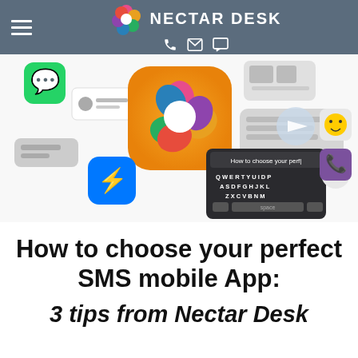NECTAR DESK
[Figure (illustration): Promotional hero image showing messaging app icons, a phone keyboard, and various chat/communication app interface elements including WhatsApp, Messenger, Viber, and other icons floating around a central Nectar Desk logo.]
How to choose your perfect SMS mobile App:
3 tips from Nectar Desk